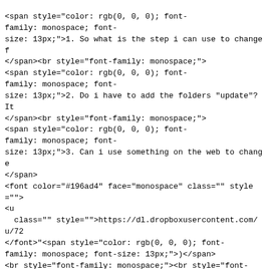<span style="color: rgb(0, 0, 0); font-family: monospace; font-size: 13px;">1. So what is the step i can use to change f</span><br style="font-family: monospace;"><span style="color: rgb(0, 0, 0); font-family: monospace; font-size: 13px;">2. Do i have to add the folders "update"? It</span><br style="font-family: monospace;"><span style="color: rgb(0, 0, 0); font-family: monospace; font-size: 13px;">3. Can i use something on the web to change</span></span><font color="#196ad4" face="monospace" class="" style=""><u class="" style="">https://dl.dropboxusercontent.com/u/72</u></font><span style="color: rgb(0, 0, 0); font-family: monospace; font-size: 13px;">)</span><br style="font-family: monospace;"><br style="font-family: monospace;"><span style="color: rgb(0, 0, 0); font-family: monospace; font-size: 13px;">Sorry for keep asking stupid questions, I am</span><br style="font-family: monospace;"><span style="color: rgb(0, 0, 0); font-family: monospace; font-size: 13px;">Thank you for your help.&nbsp;</span><br class="" style=""></span></div><div style="color: rgb(0, 0, 0); font-family: HelveticaNeue, 'Helvetica Neue', Helvetica, Arial, serif; font-size: 13px;"></div>